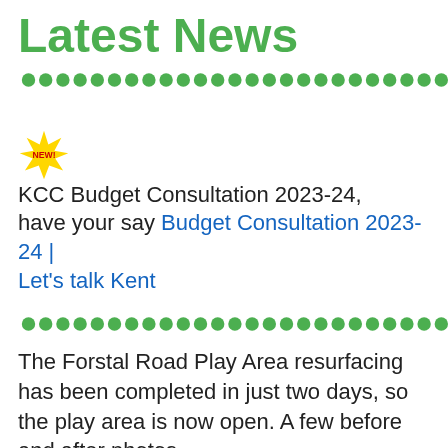Latest News
[Figure (other): Row of green dots decorative divider]
KCC Budget Consultation 2023-24, have your say Budget Consultation 2023-24 | Let's talk Kent
[Figure (other): Row of green dots decorative divider]
The Forstal Road Play Area resurfacing has been completed in just two days, so the play area is now open. A few before and after photos.
[Figure (photo): Before and after photo of play area with sky and trees visible]